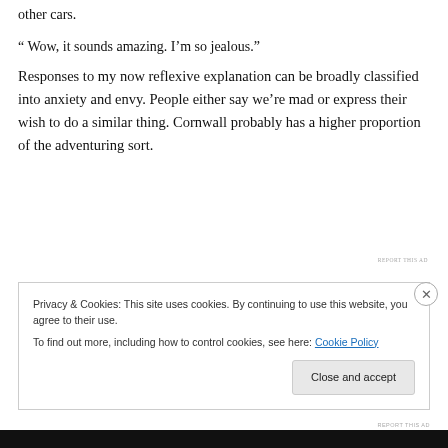other cars.
“ Wow, it sounds amazing. I’m so jealous.”
Responses to my now reflexive explanation can be broadly classified into anxiety and envy. People either say we’re mad or express their wish to do a similar thing. Cornwall probably has a higher proportion of the adventuring sort.
REPORT THIS AD
Privacy & Cookies: This site uses cookies. By continuing to use this website, you agree to their use.
To find out more, including how to control cookies, see here: Cookie Policy
Close and accept
REPORT THIS AD